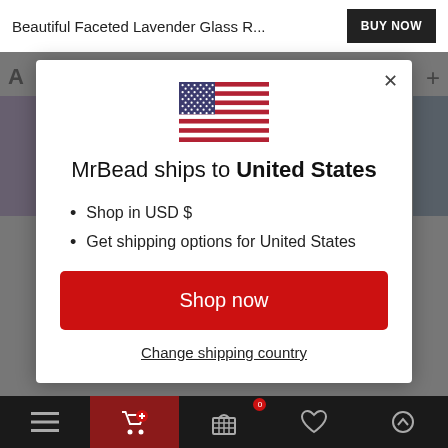Beautiful Faceted Lavender Glass R...
[Figure (screenshot): BUY NOW button in black on white header bar]
[Figure (illustration): USA flag SVG illustration in modal dialog]
MrBead ships to United States
Shop in USD $
Get shipping options for United States
Shop now
Change shipping country
Navigation bar with menu, cart, wishlist, and scroll-up icons